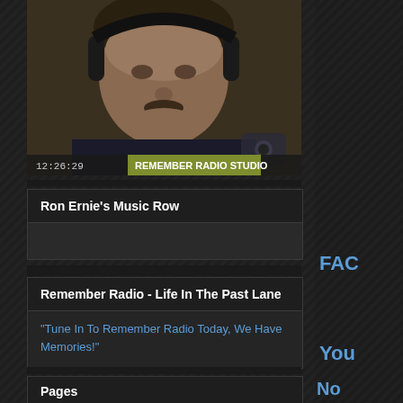[Figure (photo): Man with headphones wearing a dark jacket, smiling. Timestamp 12:26:29 shown at bottom left. Text overlay 'REMEMBER RADIO STUDIO' in yellow/green bar at bottom.]
Ron Ernie's Music Row
Remember Radio - Life In The Past Lane
"Tune In To Remember Radio Today, We Have Memories!"
Pages
Home
FAC
You
No wa read